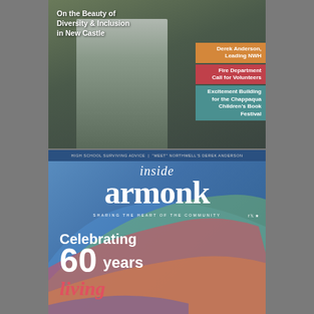[Figure (photo): Top magazine cover showing a woman in a navy blazer standing outdoors. White text reads 'On the Beauty of Diversity & Inclusion in New Castle'. Side labels: orange 'Derek Anderson, Leading NWH', red 'Fire Department Call for Volunteers', teal 'Excitement Building for the Chappaqua Children's Book Festival'.]
[Figure (photo): Bottom magazine cover for 'inside armonk' with tagline 'SHARING THE HEART OF THE COMMUNITY'. Features colorful arcs in background. Text reads 'Celebrating 60 years' with partial cursive text below. Top bar reads 'HIGH SCHOOL SURVIVING ADVICE | MEET NORTHWELL'S DEREK ANDERSON'.]